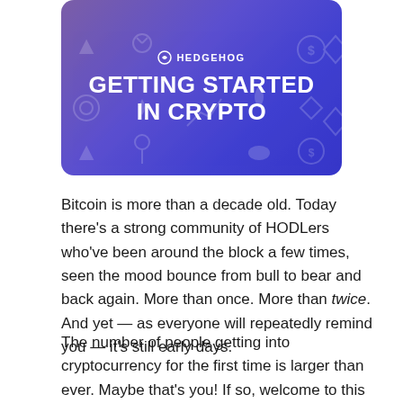[Figure (illustration): Hedgehog brand banner with purple/blue gradient background, crypto currency icons watermarked in background, Hedgehog logo at top center, bold white title text 'GETTING STARTED IN CRYPTO']
Bitcoin is more than a decade old. Today there's a strong community of HODLers who've been around the block a few times, seen the mood bounce from bull to bear and back again. More than once. More than twice. And yet — as everyone will repeatedly remind you — it's still early days.
The number of people getting into cryptocurrency for the first time is larger than ever. Maybe that's you! If so, welcome to this wild, exhilarating world